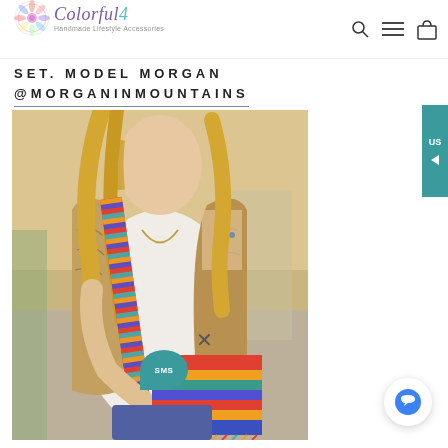Colorful 4 — Handmade Lifestyle Accessories
SET. MODEL MORGAN @MORGANINMOUNTAINS
[Figure (photo): Woman wearing a boho fur vest over a white top, holding a colorful Wayuu mochila bag with a chevron-patterned strap, outdoors.]